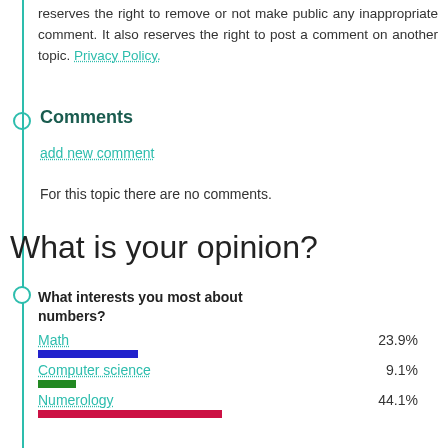reserves the right to remove or not make public any inappropriate comment. It also reserves the right to post a comment on another topic. Privacy Policy.
Comments
add new comment
For this topic there are no comments.
What is your opinion?
What interests you most about numbers?
[Figure (bar-chart): What interests you most about numbers?]